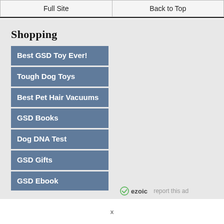Full Site | Back to Top
Shopping
Best GSD Toy Ever!
Tough Dog Toys
Best Pet Hair Vacuums
GSD Books
Dog DNA Test
GSD Gifts
GSD Ebook
ezoic report this ad
x